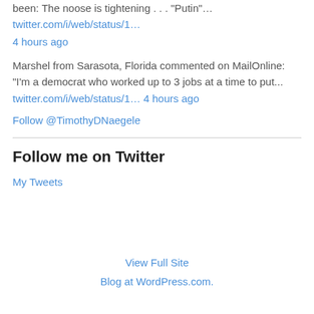been: The noose is tightening . . . "Putin"… twitter.com/i/web/status/1… 4 hours ago
Marshel from Sarasota, Florida commented on MailOnline: "I'm a democrat who worked up to 3 jobs at a time to put... twitter.com/i/web/status/1… 4 hours ago
Follow @TimothyDNaegele
Follow me on Twitter
My Tweets
View Full Site
Blog at WordPress.com.